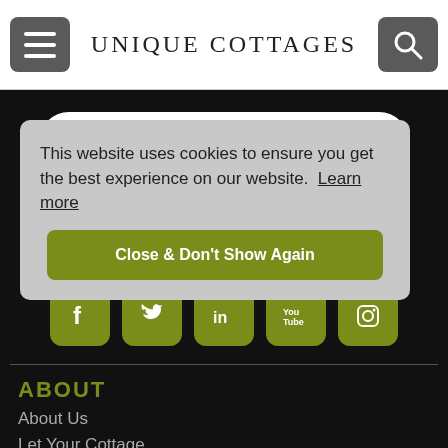UNIQUE COTTAGES
Request one of our brochures
Sign up to our eNewsletter
[Figure (other): Social media icons: Facebook, Twitter, LinkedIn, YouTube, Instagram]
ABOUT
About Us
Let Your Cottage
Newsletter
Unique Blog
This website uses cookies to ensure you get the best experience on our website. Learn more
Close & Don't Show Again